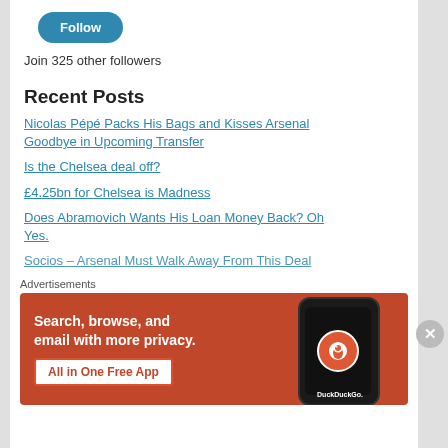[Figure (other): Blue Follow button (rounded pill shape)]
Join 325 other followers
Recent Posts
Nicolas Pépé Packs His Bags and Kisses Arsenal Goodbye in Upcoming Transfer
Is the Chelsea deal off?
£4.25bn for Chelsea is Madness
Does Abramovich Wants His Loan Money Back? Oh Yes.
Socios – Arsenal Must Walk Away From This Deal
Advertisements
[Figure (illustration): DuckDuckGo advertisement banner: orange/red background with text 'Search, browse, and email with more privacy. All in One Free App' and a phone showing DuckDuckGo logo]